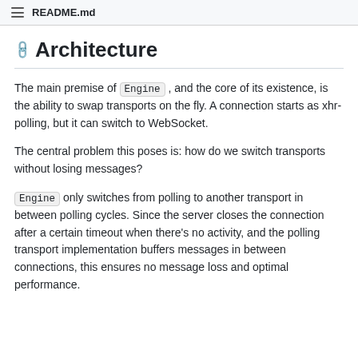README.md
Architecture
The main premise of Engine , and the core of its existence, is the ability to swap transports on the fly. A connection starts as xhr-polling, but it can switch to WebSocket.
The central problem this poses is: how do we switch transports without losing messages?
Engine only switches from polling to another transport in between polling cycles. Since the server closes the connection after a certain timeout when there's no activity, and the polling transport implementation buffers messages in between connections, this ensures no message loss and optimal performance.